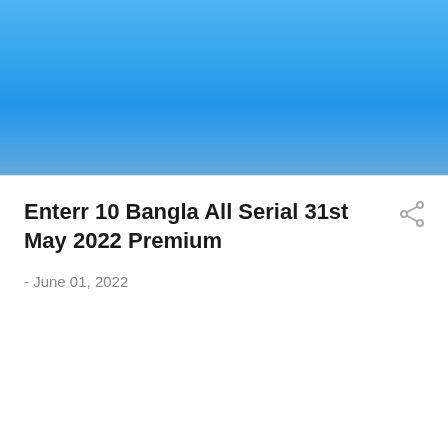[Figure (illustration): Blue gradient banner header background]
Enterr 10 Bangla All Serial 31st May 2022 Premium
- June 01, 2022